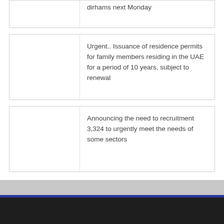dirhams next Monday
Urgent.. Issuance of residence permits for family members residing in the UAE for a period of 10 years, subject to renewal
Announcing the need to recruitment 3,324 to urgently meet the needs of some sectors